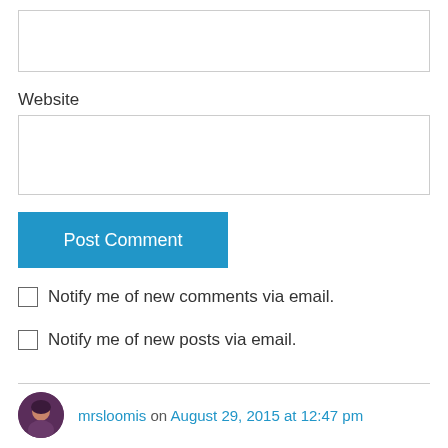[Figure (screenshot): Text input box (empty, top of page)]
Website
[Figure (screenshot): Website text input box (empty)]
[Figure (screenshot): Post Comment button (blue)]
Notify me of new comments via email.
Notify me of new posts via email.
mrsloomis on August 29, 2015 at 12:47 pm
End of free time, beginning of a new series of adventures!